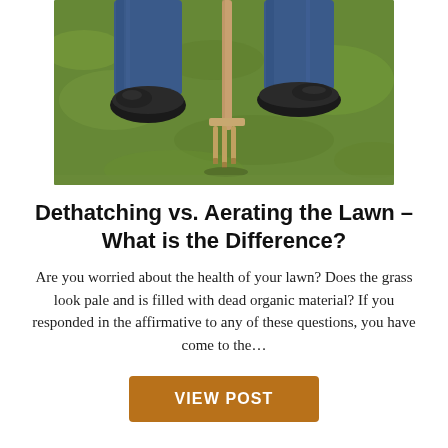[Figure (photo): Person's feet in dark shoes using a garden fork/aerating tool on green grass lawn, viewed from above]
Dethatching vs. Aerating the Lawn – What is the Difference?
Are you worried about the health of your lawn? Does the grass look pale and is filled with dead organic material? If you responded in the affirmative to any of these questions, you have come to the…
VIEW POST